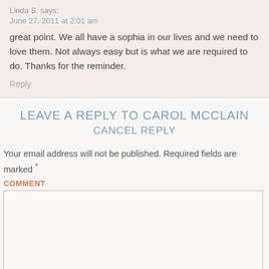Linda S. says:
June 27, 2011 at 2:01 am
great point. We all have a sophia in our lives and we need to love them. Not always easy but is what we are required to do. Thanks for the reminder.
Reply
LEAVE A REPLY TO CAROL MCCLAIN
CANCEL REPLY
Your email address will not be published. Required fields are marked *
COMMENT
NAME